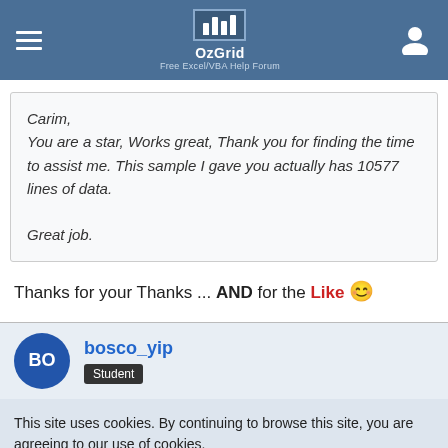OzGrid Free Excel/VBA Help Forum
Carim,
You are a star, Works great, Thank you for finding the time to assist me. This sample I gave you actually has 10577 lines of data.

Great job.
Thanks for your Thanks ... AND for the Like 🙂
bosco_yip
Student
This site uses cookies. By continuing to browse this site, you are agreeing to our use of cookies.